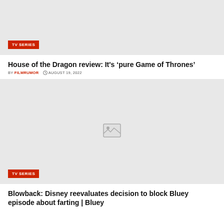[Figure (photo): Top article image placeholder for House of the Dragon article, light gray background]
House of the Dragon review: It’s ‘pure Game of Thrones’
BY FILMRUMOR  AUGUST 19, 2022
[Figure (photo): Second article image placeholder with image broken icon, light gray background, TV SERIES badge]
Blowback: Disney reevaluates decision to block Bluey episode about farting | Bluey